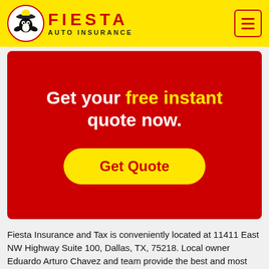FIESTA AUTO INSURANCE
[Figure (logo): Fiesta Auto Insurance logo with cartoon bird mascot wearing a hat, yellow background, red text reading FIESTA AUTO INSURANCE, and hamburger menu icon]
Get your free instant quote now.
Get Quote
Fiesta Insurance and Tax is conveniently located at 11411 East NW Highway Suite 100, Dallas, TX, 75218. Local owner Eduardo Arturo Chavez and team provide the best and most affordable auto insurance